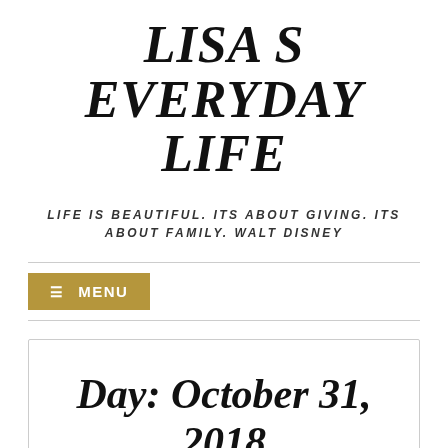LISA S EVERYDAY LIFE
LIFE IS BEAUTIFUL. ITS ABOUT GIVING. ITS ABOUT FAMILY. WALT DISNEY
≡ MENU
Day: October 31, 2018